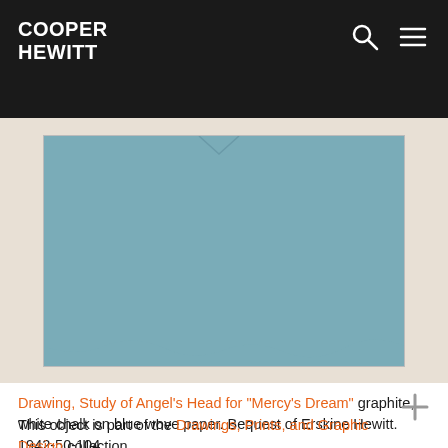COOPER HEWITT
[Figure (photo): Partial view of a drawing on blue wove paper showing the bottom edge of an artwork with a teal/blue-grey surface against a beige/cream mat.]
Drawing, Study of Angel's Head for "Mercy's Dream" graphite, white chalk on blue wove paper. Bequest of Erskine Hewitt. 1942-50-104
This object is part of the Drawings, Prints, and Graphic Design collection.